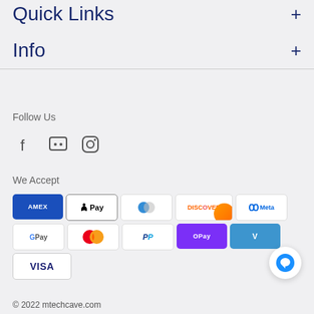Quick Links
Info
Follow Us
[Figure (illustration): Social media icons: Facebook, Discord, Instagram]
We Accept
[Figure (illustration): Payment method badges: AMEX, Apple Pay, Diners Club, Discover, Meta Pay, Google Pay, Mastercard, PayPal, OPay, Venmo, VISA]
© 2022 mtechcave.com